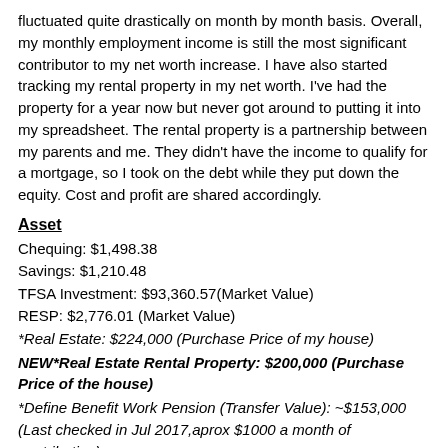fluctuated quite drastically on month by month basis. Overall, my monthly employment income is still the most significant contributor to my net worth increase. I have also started tracking my rental property in my net worth. I've had the property for a year now but never got around to putting it into my spreadsheet. The rental property is a partnership between my parents and me. They didn't have the income to qualify for a mortgage, so I took on the debt while they put down the equity. Cost and profit are shared accordingly.
Asset
Chequing: $1,498.38
Savings: $1,210.48
TFSA Investment: $93,360.57(Market Value)
RESP: $2,776.01 (Market Value)
*Real Estate: $224,000 (Purchase Price of my house)
NEW*Real Estate Rental Property: $200,000 (Purchase Price of the house)
*Define Benefit Work Pension (Transfer Value): ~$153,000 (Last checked in Jul 2017,aprox $1000 a month of contribution)